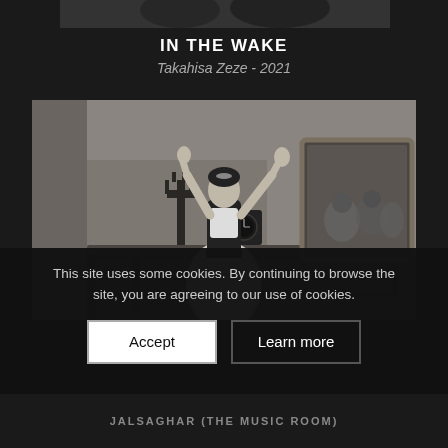[Figure (photo): Partial top image showing a dark scene, cropped at top of page]
IN THE WAKE
Takahisa Zeze - 2021
[Figure (photo): Black and white still from Jalsaghar (The Music Room) showing a woman in traditional Indian dress dancing with arms raised, with a clock and decorative furniture in the background and an ornate mirror reflecting seated musicians]
This site uses some cookies. By continuing to browse the site, you are agreeing to our use of cookies.
Accept
Learn more
JALSAGHAR (THE MUSIC ROOM)